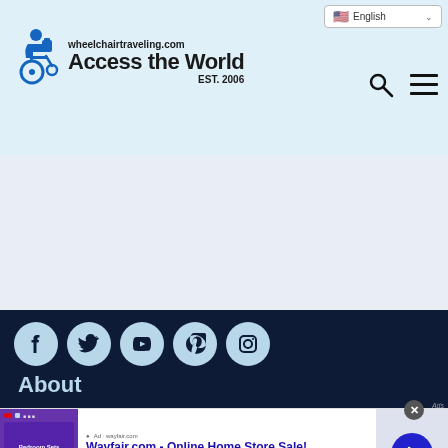wheelchairtraveling.com Access the World EST. 2006
[Figure (screenshot): Wayfair.com online advertisement banner with purple bedroom image, title 'Wayfair.com - Online Home Store Sale!', description text, and arrow navigation button]
About
[Figure (infographic): Social media icons: Facebook, Twitter, YouTube, Pinterest, Instagram — light blue circles on dark navy background]